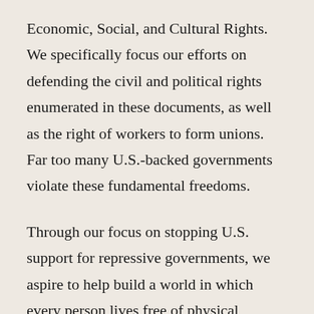Economic, Social, and Cultural Rights. We specifically focus our efforts on defending the civil and political rights enumerated in these documents, as well as the right of workers to form unions. Far too many U.S.-backed governments violate these fundamental freedoms.
Through our focus on stopping U.S. support for repressive governments, we aspire to help build a world in which every person lives free of physical violence, coercion, structural violence, and institutional discrimination. All people should live in political systems that foster liberty, justice, equity, access to opportunity, and fundamental dignity.